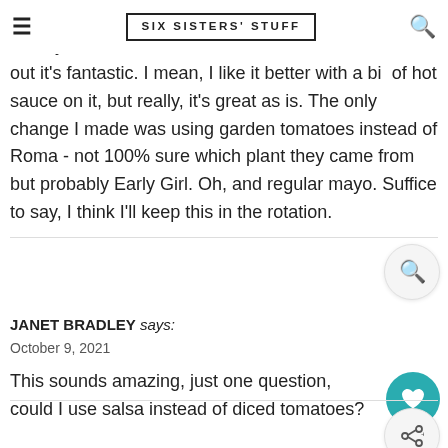SIX SISTERS' STUFF
wrong so I made it - although I have to say the idea of mayo and sour cream kinda scared me a bit. Turns out it's fantastic. I mean, I like it better with a bit of hot sauce on it, but really, it's great as is. The only change I made was using garden tomatoes instead of Roma - not 100% sure which plant they came from but probably Early Girl. Oh, and regular mayo. Suffice to say, I think I'll keep this in the rotation.
JANET BRADLEY says:
October 9, 2021

This sounds amazing, just one question, could I use salsa instead of diced tomatoes?